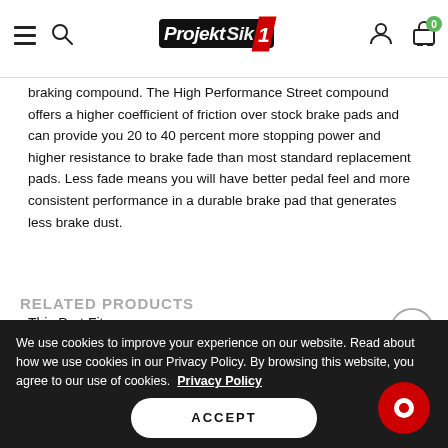ProjektSik1 — navigation header with hamburger menu, search, logo, user icon, cart (0)
braking compound. The High Performance Street compound offers a higher coefficient of friction over stock brake pads and can provide you 20 to 40 percent more stopping power and higher resistance to brake fade than most standard replacement pads. Less fade means you will have better pedal feel and more consistent performance in a durable brake pad that generates less brake dust.
This Part Fits:
| Year | Make | Model | Submodel |
| --- | --- | --- | --- |
| 2013 | Audi | A5 Quattro | Base |
We use cookies to improve your experience on our website. Read about how we use cookies in our Privacy Policy. By browsing this website, you agree to our use of cookies. Privacy Policy
ACCEPT